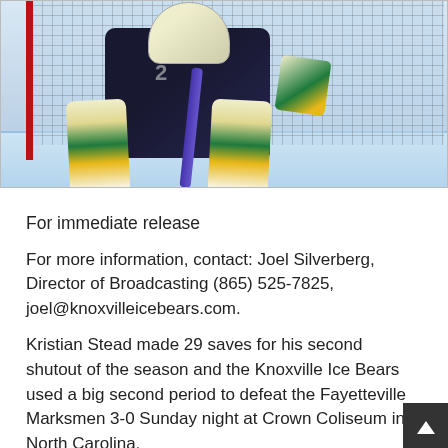[Figure (photo): Hockey goalie in dark jersey making a save in front of the net, wearing yellow and green pads, at an ice rink. Red goal posts and net visible in background.]
For immediate release
For more information, contact: Joel Silverberg, Director of Broadcasting (865) 525-7825,  joel@knoxvilleicebears.com.
Kristian Stead made 29 saves for his second shutout of the season and the Knoxville Ice Bears used a big second period to defeat the Fayetteville Marksmen 3-0 Sunday night at Crown Coliseum in North Carolina.